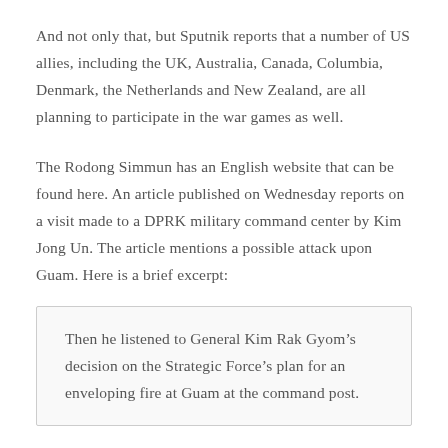And not only that, but Sputnik reports that a number of US allies, including the UK, Australia, Canada, Columbia, Denmark, the Netherlands and New Zealand, are all planning to participate in the war games as well.
The Rodong Simmun has an English website that can be found here. An article published on Wednesday reports on a visit made to a DPRK military command center by Kim Jong Un. The article mentions a possible attack upon Guam. Here is a brief excerpt:
Then he listened to General Kim Rak Gyom’s decision on the Strategic Force’s plan for an enveloping fire at Guam at the command post.